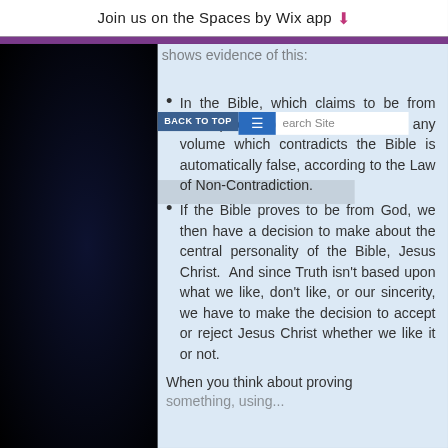Join us on the Spaces by Wix app ↓
In the Bible, which claims to be from God, proves to be from God — any volume which contradicts the Bible is automatically false, according to the Law of Non-Contradiction.
If the Bible proves to be from God, we then have a decision to make about the central personality of the Bible, Jesus Christ.  And since Truth isn't based upon what we like, don't like, or our sincerity, we have to make the decision to accept or reject Jesus Christ whether we like it or not.
When you think about proving something, using...